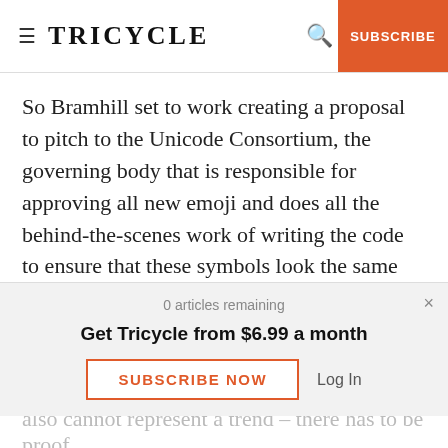≡ TRICYCLE | 🔍 | SUBSCRIBE
So Bramhill set to work creating a proposal to pitch to the Unicode Consortium, the governing body that is responsible for approving all new emoji and does all the behind-the-scenes work of writing the code to ensure that these symbols look the same across different web platforms and devices. In 2010, Unicode created a standardized emoji library, and they've carefully considered every new proposal
0 articles remaining
Get Tricycle from $6.99 a month
SUBSCRIBE NOW   Log In
also cannot represent a trend – there has to be proof